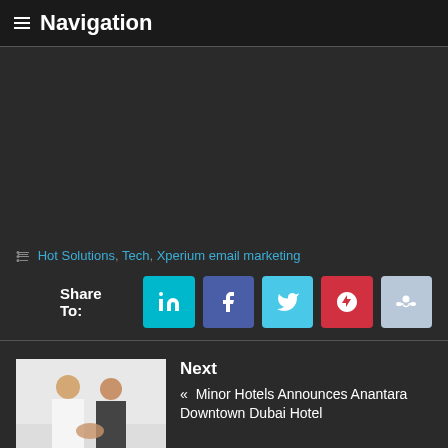Navigation
Hot Solutions, Tech, Xperium email marketing
Share To:
[Figure (screenshot): Two men shaking hands, Next article thumbnail for Minor Hotels Anantara Downtown Dubai Hotel]
Next « Minor Hotels Announces Anantara Downtown Dubai Hotel
Previous The results you need when you need them